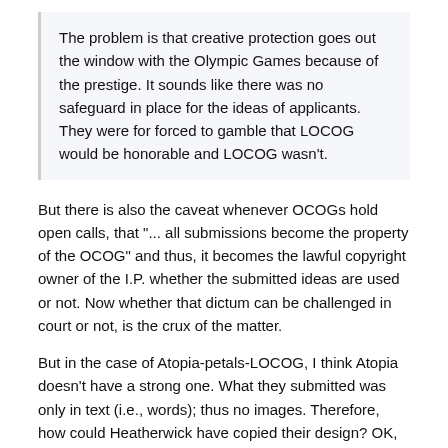The problem is that creative protection goes out the window with the Olympic Games because of the prestige. It sounds like there was no safeguard in place for the ideas of applicants. They were for forced to gamble that LOCOG would be honorable and LOCOG wasn't.
But there is also the caveat whenever OCOGs hold open calls, that "... all submissions become the property of the OCOG" and thus, it becomes the lawful copyright owner of the I.P. whether the submitted ideas are used or not. Now whether that dictum can be challenged in court or not, is the crux of the matter.
But in the case of Atopia-petals-LOCOG, I think Atopia doesn't have a strong one. What they submitted was only in text (i.e., words); thus no images. Therefore, how could Heatherwick have copied their design? OK, maybe the 'children escort' idea was lifted from the Atopia submission, but then Atopia's original idea (going by the written text in the booklet they just recently released) of the grove/patch/bosque in the middle of the stadium was utterly ridiculous so as to render their whole package untenable. (And that is where the 'borrowing' may have occurred.